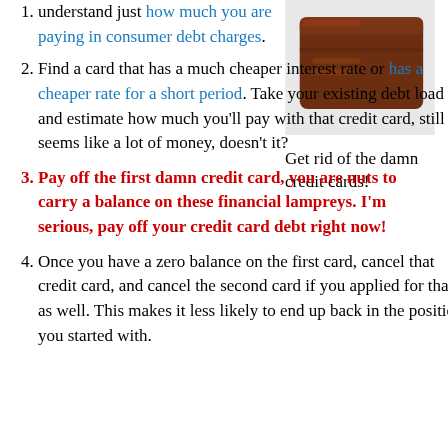understand just how much you are paying in consumer debt charges.
[Figure (photo): Brown leather wallet photo]
Get rid of the damn credit cards!
Find a card that has a much cheaper interest rate or has a cheaper rate for a short period. Take your existing debt load and estimate how much you'll pay with that credit card, still seems like a lot of money, doesn't it?
Pay off the first damn credit card, you are nuts to carry a balance on these financial lampreys. I'm serious, pay off your credit card debt right now!
Once you have a zero balance on the first card, cancel that credit card, and cancel the second card if you applied for that as well. This makes it less likely to end up back in the position you started with.